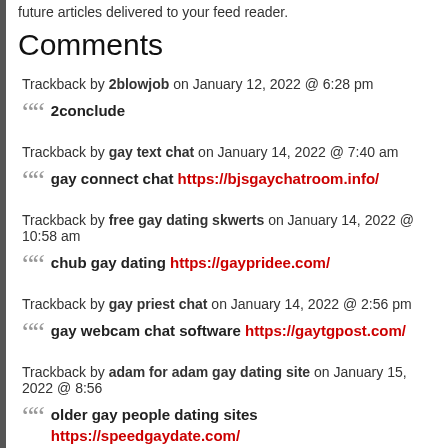future articles delivered to your feed reader.
Comments
Trackback by 2blowjob on January 12, 2022 @ 6:28 pm
2conclude
Trackback by gay text chat on January 14, 2022 @ 7:40 am
gay connect chat https://bjsgaychatroom.info/
Trackback by free gay dating skwerts on January 14, 2022 @ 10:58 am
chub gay dating https://gaypridee.com/
Trackback by gay priest chat on January 14, 2022 @ 2:56 pm
gay webcam chat software https://gaytgpost.com/
Trackback by adam for adam gay dating site on January 15, 2022 @ 8:56
older gay people dating sites https://speedgaydate.com/